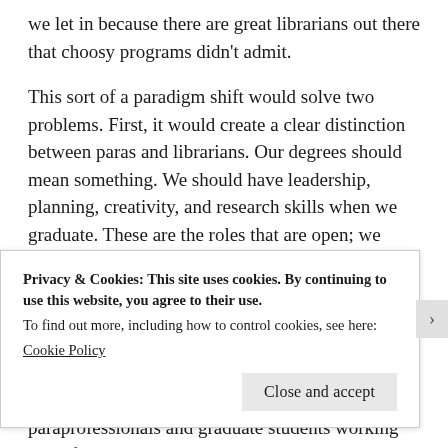we let in because there are great librarians out there that choosy programs didn't admit.
This sort of a paradigm shift would solve two problems. First, it would create a clear distinction between paras and librarians. Our degrees should mean something. We should have leadership, planning, creativity, and research skills when we graduate. These are the roles that are open; we can't expect to sit around and catalog books or work the same shift at the reference desk day in and day out. There is no reason why a Librarian needs to do that work. It makes sense to have them do that work to maximize labor efficiencies, but even high end research libraries have paraprofessionals and graduate students working the reference desk, cataloging, and other roles that fall
Privacy & Cookies: This site uses cookies. By continuing to use this website, you agree to their use.
To find out more, including how to control cookies, see here:
Cookie Policy
Close and accept